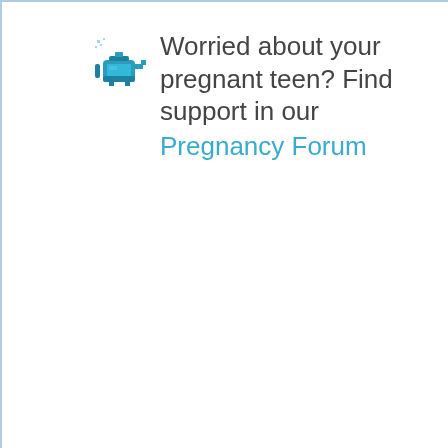[Figure (illustration): Pixel art icon of a teal/blue tea kettle with sparkles above it, suggesting steam or magic]
Worried about your pregnant teen? Find support in our Pregnancy Forum